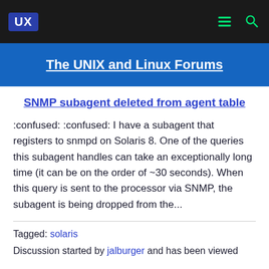UX | The UNIX and Linux Forums
SNMP subagent deleted from agent table
:confused: :confused: I have a subagent that registers to snmpd on Solaris 8. One of the queries this subagent handles can take an exceptionally long time (it can be on the order of ~30 seconds). When this query is sent to the processor via SNMP, the subagent is being dropped from the...
Tagged: solaris
Discussion started by jalburger and has been viewed